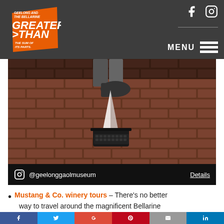[Figure (logo): Greater Than logo — Geelong and The Bellarine, Greater Than the Sum of Its Parts, orange text on dark background]
MENU
[Figure (photo): Street art on a brick wall showing a person's legs and feet above a typewriter, black and white mural]
@geelonggaolmuseum   Details
Mustang & Co. winery tours – There's no better way to travel around the magnificent Bellarine
[Figure (other): Social share bar with Facebook, Twitter, Google+, Pinterest, Email, LinkedIn buttons]